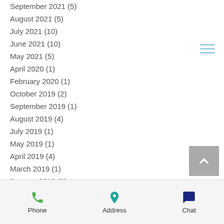September 2021 (5)
August 2021 (5)
July 2021 (10)
June 2021 (10)
May 2021 (5)
April 2020 (1)
February 2020 (1)
October 2019 (2)
September 2019 (1)
August 2019 (4)
July 2019 (1)
May 2019 (1)
April 2019 (4)
March 2019 (1)
January 2019 (2)
December 2018 (3)
October 2018 (2)
September 2018 (6)
Phone | Address | Chat